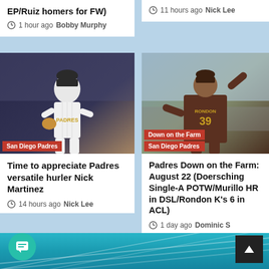EP/Ruiz homers for FW)
1 hour ago  Bobby Murphy
11 hours ago  Nick Lee
[Figure (photo): San Diego Padres pitcher celebrating on the mound in white pinstripe uniform]
San Diego Padres
[Figure (photo): San Diego Padres pitcher #39 Rondon winding up to throw in brown/gold uniform]
Down on the Farm
San Diego Padres
Time to appreciate Padres versatile hurler Nick Martinez
14 hours ago  Nick Lee
Padres Down on the Farm: August 22 (Doersching Single-A POTW/Murillo HR in DSL/Rondon K's 6 in ACL)
1 day ago  Dominic S